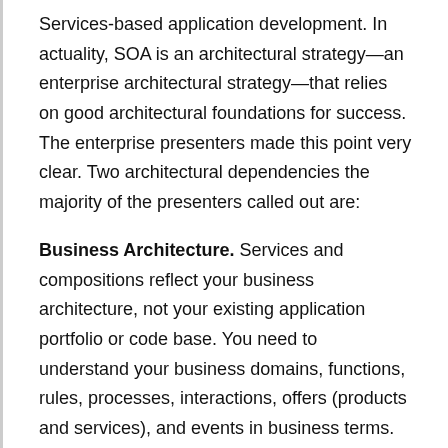Services-based application development. In actuality, SOA is an architectural strategy—an enterprise architectural strategy—that relies on good architectural foundations for success. The enterprise presenters made this point very clear. Two architectural dependencies the majority of the presenters called out are:
Business Architecture. Services and compositions reflect your business architecture, not your existing application portfolio or code base. You need to understand your business domains, functions, rules, processes, interactions, offers (products and services), and events in business terms.
Information Architecture. If your information architecture is a mess, your SOA will be a mess. Every enterprise should have a canonical data model that is the definitive source of key data terms, definitions, and relationships. In a perfect world, this canonical model would be your implementation schematic. But, in the real world, the